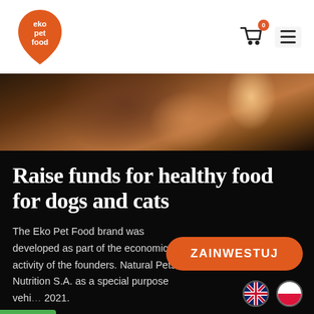[Figure (logo): Eko Pet Food logo — orange teardrop/leaf shape with white text reading 'eko pet food']
[Figure (photo): Close-up photo of a cat or dog resting on a dark brown fabric surface, warm orange tones]
Raise funds for healthy food for dogs and cats
The Eko Pet Food brand was developed as part of the economic activity of the founders. Natural Pets Nutrition S.A. as a special purpose vehi… 2021.
[Figure (other): Orange rounded rectangle button with white bold text ZAINWESTUJ]
[Figure (other): Two circular flag icons: UK flag (Union Jack) and Polish flag (white/red)]